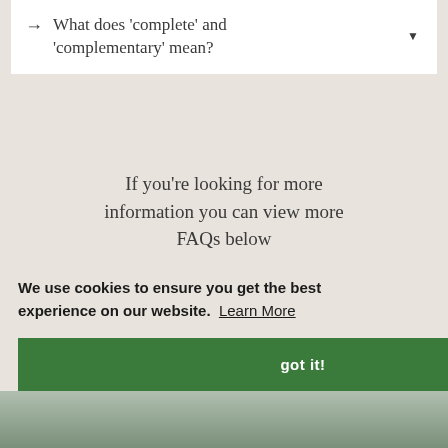→ What does 'complete' and 'complementary' mean? ▼
If you're looking for more information you can view more FAQs below
learn more
We use cookies to ensure you get the best experience on our website. Learn More
got it!
ates?
back
to top
[Figure (photo): Partial photo of trees/forest at bottom of page]